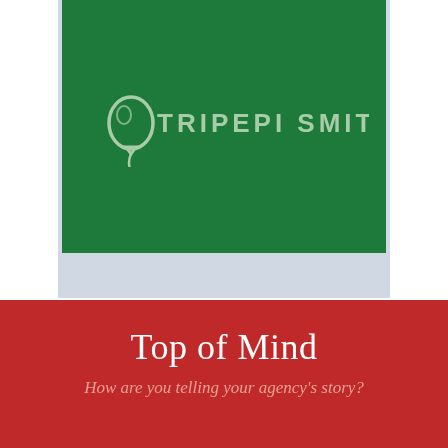[Figure (logo): Tripepi Smith logo on a dark green background inside a polaroid-style frame with light blue-grey border. The logo consists of a balloon icon and the text 'TRIPEPI SMITH' in light green/white letters.]
Top of Mind
How are you telling your agency's story?